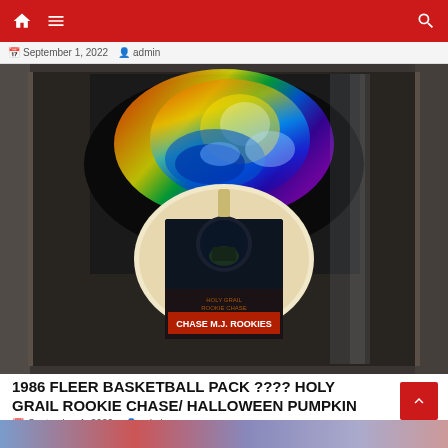Navigation bar with home icon, menu icon, and search icon
September 1, 2022   admin
[Figure (photo): Close-up photo of a holographic 1986 Fleer basketball pack showing rainbow holographic light reflections on the packaging, with a Halloween pumpkin wood display holder and text reading CHASE M.J. ROOKIES visible on a card/pack]
1986 FLEER BASKETBALL PACK ???? HOLY GRAIL ROOKIE CHASE/ HALLOWEEN PUMPKIN WOOD
September 1, 2022   admin